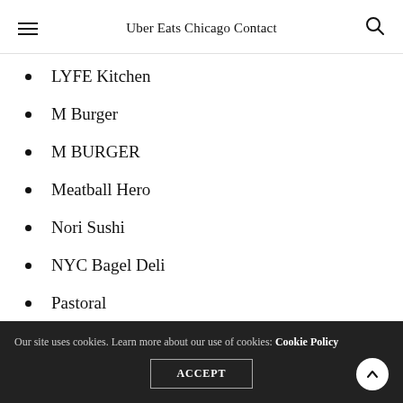Uber Eats Chicago Contact
LYFE Kitchen
M Burger
M BURGER
Meatball Hero
Nori Sushi
NYC Bagel Deli
Pastoral
Pita Heaven II
Our site uses cookies. Learn more about our use of cookies: Cookie Policy ACCEPT